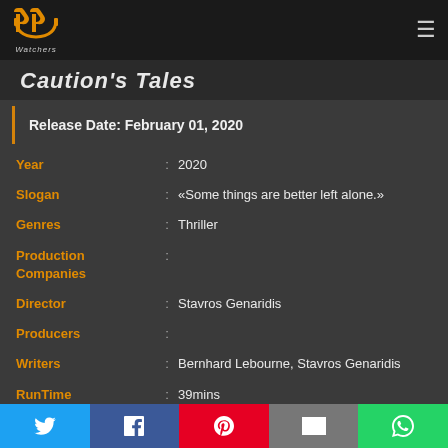PP Watchers logo and navigation
Caution's Tales
Release Date: February 01, 2020
| Field | : | Value |
| --- | --- | --- |
| Year | : | 2020 |
| Slogan | : | «Some things are better left alone.» |
| Genres | : | Thriller |
| Production Companies | : |  |
| Director | : | Stavros Genaridis |
| Producers | : |  |
| Writers | : | Bernhard Lebourne, Stavros Genaridis |
| RunTime | : | 39mins |
Social sharing bar: Twitter, Facebook, Pinterest, Email, WhatsApp